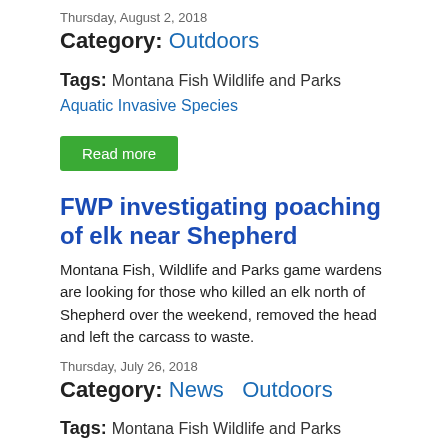Thursday, August 2, 2018
Category: Outdoors
Tags: Montana Fish Wildlife and Parks   Aquatic Invasive Species
Read more
FWP investigating poaching of elk near Shepherd
Montana Fish, Wildlife and Parks game wardens are looking for those who killed an elk north of Shepherd over the weekend, removed the head and left the carcass to waste.
Thursday, July 26, 2018
Category: News   Outdoors
Tags: Montana Fish Wildlife and Parks
Read more